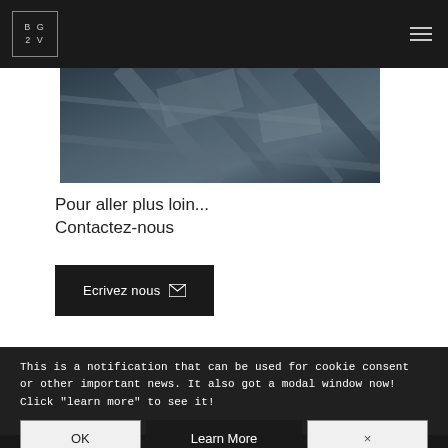BG 2V
[Figure (photo): Close-up architectural photo of dark metal building structure, geometric lines, looking upward]
Pour aller plus loin... Contactez-nous
Ecrivez nous
This is a notification that can be used for cookie consent or other important news. It also got a modal window now! Click "learn more" to see it!
OK
Learn More
×
Mentions légales   Politique de confidentialité